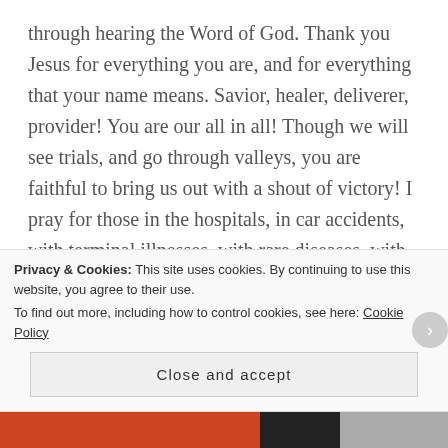through hearing the Word of God. Thank you Jesus for everything you are, and for everything that your name means. Savior, healer, deliverer, provider! You are our all in all! Though we will see trials, and go through valleys, you are faithful to bring us out with a shout of victory! I pray for those in the hospitals, in car accidents, with terminal illnesses, with rare diseases, with sicknesses that bring shame, for people in pain, that you raise them from the valley and put them on the mountain. That you put the shield of faith and the sword of the Spirit, which is the Word of God, in their hands and help them
Privacy & Cookies: This site uses cookies. By continuing to use this website, you agree to their use. To find out more, including how to control cookies, see here: Cookie Policy
Close and accept